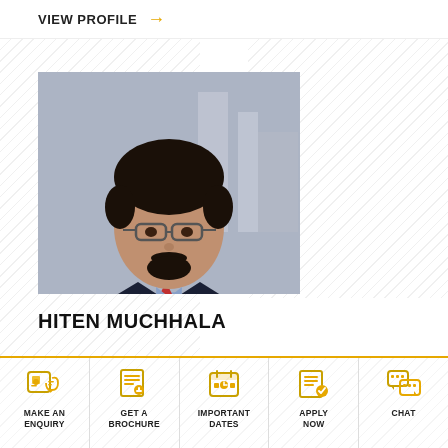VIEW PROFILE →
[Figure (photo): Portrait photo of Hiten Muchhala, a man with glasses and a beard wearing a dark checked blazer and light blue shirt with a red pocket square, in a restaurant/café setting]
HITEN MUCHHALA
MAKE AN ENQUIRY | GET A BROCHURE | IMPORTANT DATES | APPLY NOW | CHAT